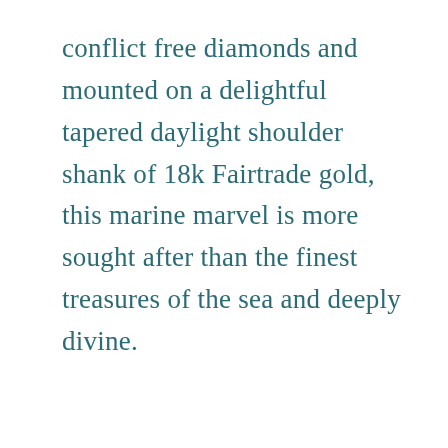conflict free diamonds and mounted on a delightful tapered daylight shoulder shank of 18k Fairtrade gold, this marine marvel is more sought after than the finest treasures of the sea and deeply divine.